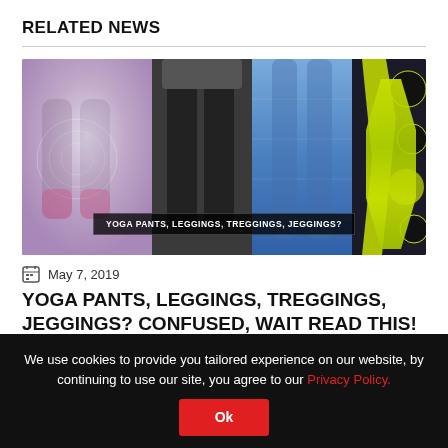RELATED NEWS
[Figure (photo): Collage of women wearing various styles of leggings/yoga pants including patterned, black, blue denim-look, and neon yellow. Overlaid text reads: YOGA PANTS, LEGGINGS, TREGGINGS, JEGGINGS?]
May 7, 2019
YOGA PANTS, LEGGINGS, TREGGINGS, JEGGINGS? CONFUSED, WAIT READ THIS!
Cotton leggings, leggings buy online, Leggings for girls, Printed leggings
We use cookies to provide you tailored experience on our website, by continuing to use our site, you agree to our Privacy Policy.
Ok